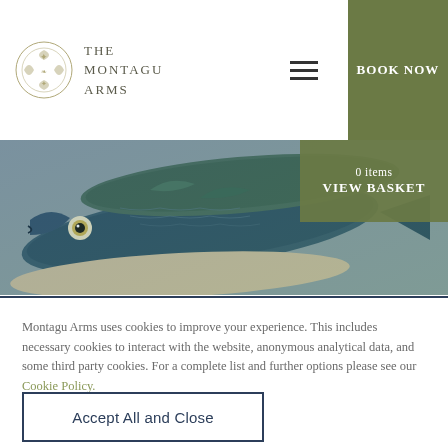THE MONTAGU ARMS
[Figure (logo): The Montagu Arms decorative emblem/crest in olive/beige tones]
BOOK NOW
[Figure (photo): Close-up photograph of several mackerel/sardine fish piled together, showing blue-green metallic scales and eyes]
0 items
VIEW BASKET
Montagu Arms uses cookies to improve your experience. This includes necessary cookies to interact with the website, anonymous analytical data, and some third party cookies. For a complete list and further options please see our Cookie Policy.
Accept All and Close